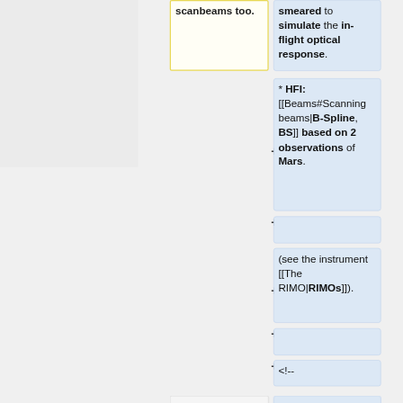scanbeams too.
smeared to simulate the in-flight optical response.
* HFI: [[Beams#Scanning beams|B-Spline, BS]] based on 2 observations of Mars.
(see the instrument [[The RIMO|RIMOs]]).
<!--